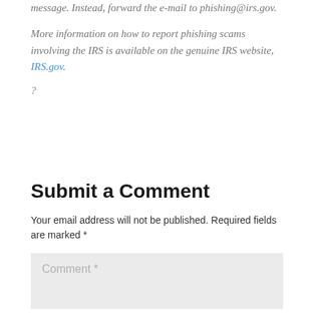message. Instead, forward the e-mail to phishing@irs.gov.
More information on how to report phishing scams involving the IRS is available on the genuine IRS website, IRS.gov.
?
Submit a Comment
Your email address will not be published. Required fields are marked *
Comment *